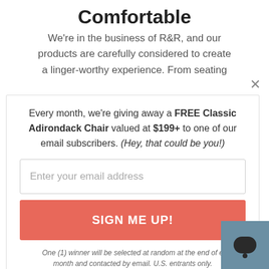Comfortable
We're in the business of R&R, and our products are carefully considered to create a linger-worthy experience. From seating
Every month, we're giving away a FREE Classic Adirondack Chair valued at $199+ to one of our email subscribers. (Hey, that could be you!)
Enter your email address
SIGN ME UP!
One (1) winner will be selected at random at the end of each month and contacted by email. U.S. entrants only.